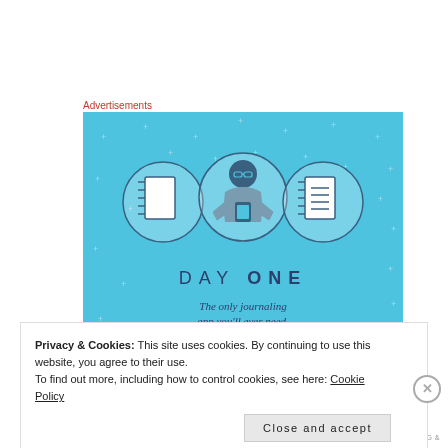Advertisements
[Figure (illustration): Day One app advertisement on a sky-blue background. Shows three circular icons (blank notebook, person using phone, notebook with lines), the text 'DAY ONE' and 'The only journaling app you'll ever need.']
Privacy & Cookies: This site uses cookies. By continuing to use this website, you agree to their use.
To find out more, including how to control cookies, see here: Cookie Policy
Close and accept